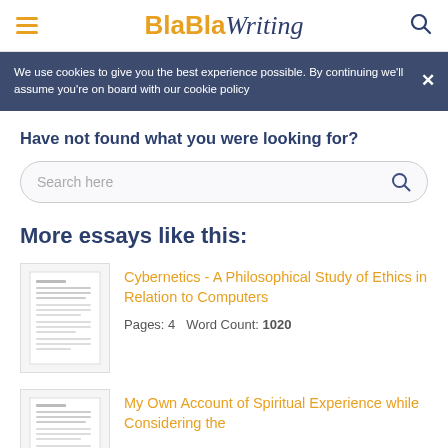BlaBlaWriting
We use cookies to give you the best experience possible. By continuing we'll assume you're on board with our cookie policy
Have not found what you were looking for?
Search here
More essays like this:
Cybernetics - A Philosophical Study of Ethics in Relation to Computers
Pages: 4   Word Count: 1020
My Own Account of Spiritual Experience while Considering the